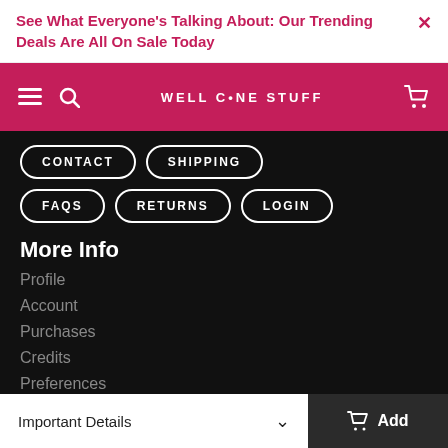See What Everyone's Talking About: Our Trending Deals Are All On Sale Today
[Figure (screenshot): Navigation bar with hamburger menu, search icon, WELL CONE STUFF logo, and shopping cart icon on pink background]
CONTACT
SHIPPING
FAQS
RETURNS
LOGIN
More Info
Profile
Account
Purchases
Credits
Preferences
Accessibility
Important Details   Add